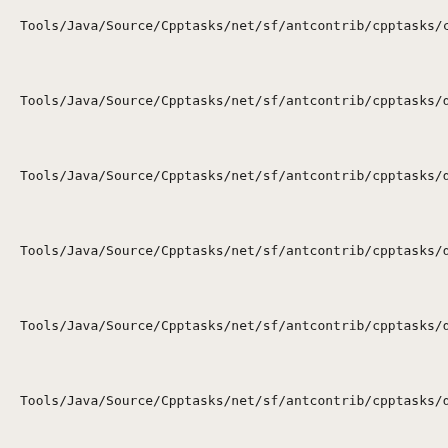Tools/Java/Source/Cpptasks/net/sf/antcontrib/cpptasks/compi…
Tools/Java/Source/Cpptasks/net/sf/antcontrib/cpptasks/devstu…
Tools/Java/Source/Cpptasks/net/sf/antcontrib/cpptasks/devstu…
Tools/Java/Source/Cpptasks/net/sf/antcontrib/cpptasks/devstu…
Tools/Java/Source/Cpptasks/net/sf/antcontrib/cpptasks/devstu…
Tools/Java/Source/Cpptasks/net/sf/antcontrib/cpptasks/devstu…